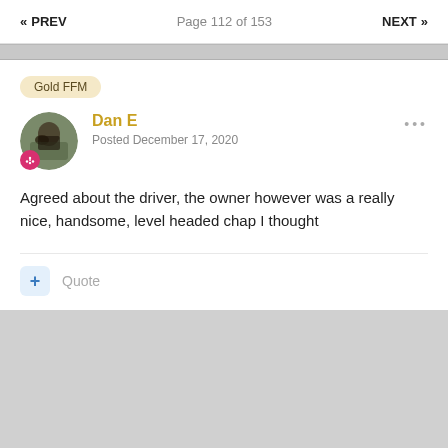« PREV  Page 112 of 153  NEXT »
Gold FFM
Dan E
Posted December 17, 2020
Agreed about the driver, the owner however was a really nice, handsome, level headed chap I thought
+ Quote